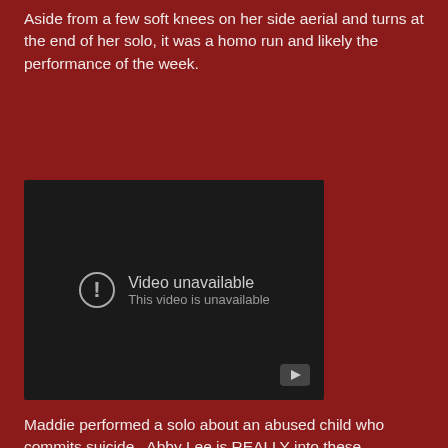Aside from a few soft knees on her side aerial and turns at the end of her solo, it was a homo run and likely the performance of the week.
[Figure (screenshot): Embedded video player showing 'Video unavailable - This video is unavailable' message on dark background with YouTube play button icon in bottom right corner]
Maddie performed a solo about an abused child who commits suicide.  Abby Lee is REALLY into these Primetime Live dance routines and it is a bit all too autobiographical for me.  Perhaps that memory is why Abby Lee downed a gallon of ice cream last week?  Maddie's solo was beautiful, but aside from it having an emotion...it looked like the same 'ol